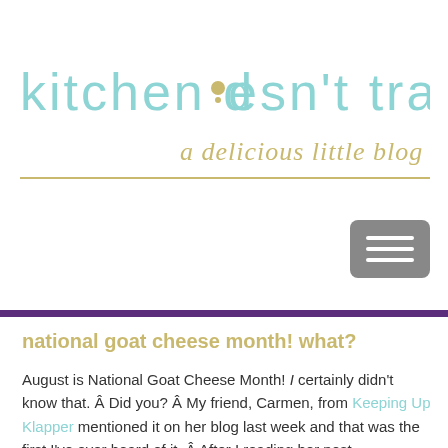[Figure (logo): Kitchen Doesn't Travel blog logo with teal script text and gold cursive subtitle 'a delicious little blog']
[Figure (other): Gray rounded rectangle hamburger menu button with three white horizontal bars]
national goat cheese month! what?
August is National Goat Cheese Month! I certainly didn't know that. Â Did you? Â My friend, Carmen, from Keeping Up Klapper mentioned it on her blog last week and that was the first I've ever heard of it. Â After I reading her post , exclaiming "National Goat Cheese Month?!?!" at the top of my lungs and squealing with delight I thought,"Why isn't this being more widely publicized? Why hasn't this been mentioned on the Today Show or been a headline in the